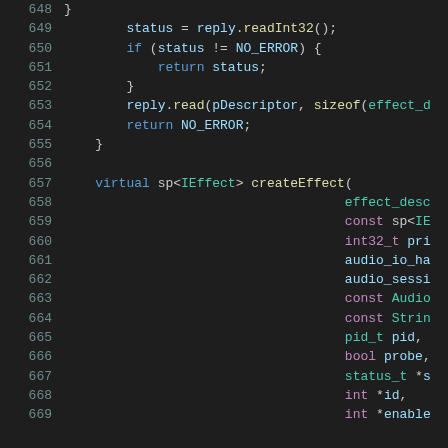[Figure (screenshot): Source code snippet showing C++ code lines 648-669, with syntax highlighting. Dark background IDE view showing status checks, return statements, reply.read calls, and a virtual createEffect function declaration with multiple parameters.]